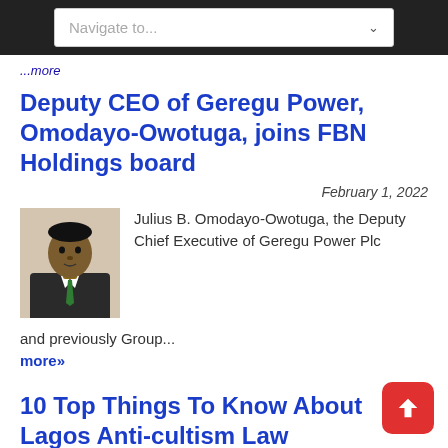Navigate to...
...more
Deputy CEO of Geregu Power, Omodayo-Owotuga, joins FBN Holdings board
February 1, 2022
[Figure (photo): Portrait photo of Julius B. Omodayo-Owotuga, a man in a dark suit with a green tie]
Julius B. Omodayo-Owotuga, the Deputy Chief Executive of Geregu Power Plc and previously Group...
more»
10 Top Things To Know About Lagos Anti-cultism Law